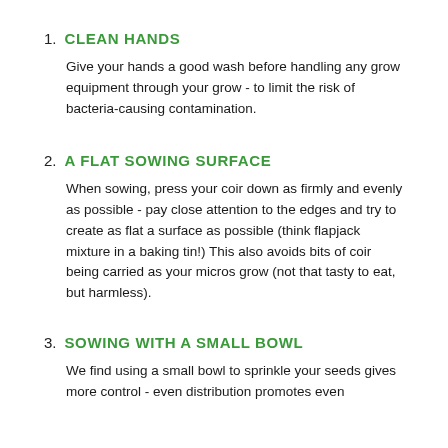1. CLEAN HANDS
Give your hands a good wash before handling any grow equipment through your grow - to limit the risk of bacteria-causing contamination.
2. A FLAT SOWING SURFACE
When sowing, press your coir down as firmly and evenly as possible - pay close attention to the edges and try to create as flat a surface as possible (think flapjack mixture in a baking tin!) This also avoids bits of coir being carried as your micros grow (not that tasty to eat, but harmless).
3. SOWING WITH A SMALL BOWL
We find using a small bowl to sprinkle your seeds gives more control - even distribution promotes even